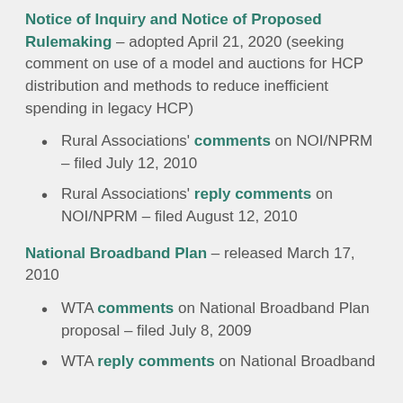Notice of Inquiry and Notice of Proposed Rulemaking – adopted April 21, 2020 (seeking comment on use of a model and auctions for HCP distribution and methods to reduce inefficient spending in legacy HCP)
Rural Associations' comments on NOI/NPRM – filed July 12, 2010
Rural Associations' reply comments on NOI/NPRM – filed August 12, 2010
National Broadband Plan – released March 17, 2010
WTA comments on National Broadband Plan proposal – filed July 8, 2009
WTA reply comments on National Broadband